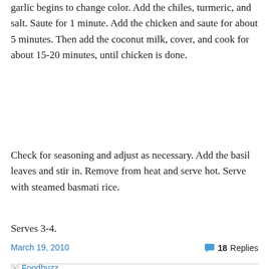garlic begins to change color. Add the chiles, turmeric, and salt. Saute for 1 minute. Add the chicken and saute for about 5 minutes. Then add the coconut milk, cover, and cook for about 15-20 minutes, until chicken is done.
Check for seasoning and adjust as necessary. Add the basil leaves and stir in. Remove from heat and serve hot. Serve with steamed basmati rice.
Serves 3-4.
March 19, 2010
18 Replies
[Figure (other): Foodbuzz logo/link image]